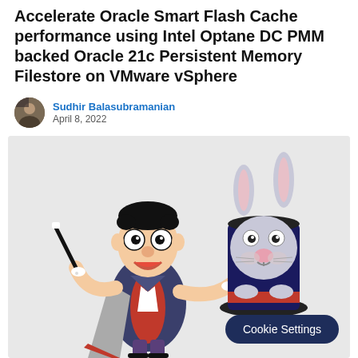Accelerate Oracle Smart Flash Cache performance using Intel Optane DC PMM backed Oracle 21c Persistent Memory Filestore on VMware vSphere
Sudhir Balasubramanian
April 8, 2022
[Figure (illustration): Cartoon illustration of a magician in a dark suit with a red bow tie holding a magic wand in one hand and a top hat in the other, with a grey rabbit poking out of the hat. The image has a light grey background.]
Cookie Settings